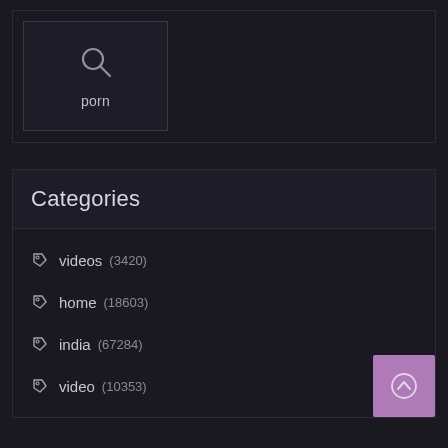[Figure (screenshot): Search box with magnifying glass icon and label 'porn']
Categories
videos (3420)
home (18603)
india (67284)
video (10353)